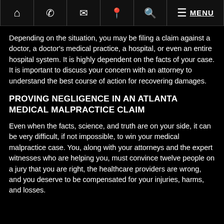Navigation bar with home, phone, email, location, search, menu icons and MENU label
Depending on the situation, you may be filing a claim against a doctor, a doctor's medical practice, a hospital, or even an entire hospital system.  It is highly dependent on the facts of your case.  It is important to discuss your concern with an attorney to understand the best course of action for recovering damages.
PROVING NEGLIGENCE IN AN ATLANTA MEDICAL MALPRACTICE CLAIM
Even when the facts, science, and truth are on your side, it can be very difficult, if not impossible, to win your medical malpractice case.  You, along with your attorneys and the expert witnesses who are helping you, must convince twelve people on a jury that you are right, the healthcare providers are wrong, and you deserve to be compensated for your injuries, harms, and losses.